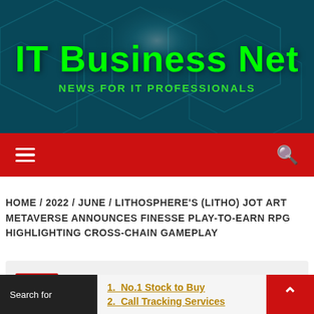[Figure (screenshot): IT Business Net website header banner with dark teal geometric hexagonal background and bright green site title]
IT Business Net
NEWS FOR IT PROFESSIONALS
[Figure (screenshot): Red navigation bar with hamburger menu icon on left and search icon on right]
HOME / 2022 / JUNE / LITHOSPHERE'S (LITHO) JOT ART METAVERSE ANNOUNCES FINESSE PLAY-TO-EARN RPG HIGHLIGHTING CROSS-CHAIN GAMEPLAY
News
Search for
1. No.1 Stock to Buy
2. Call Tracking Services